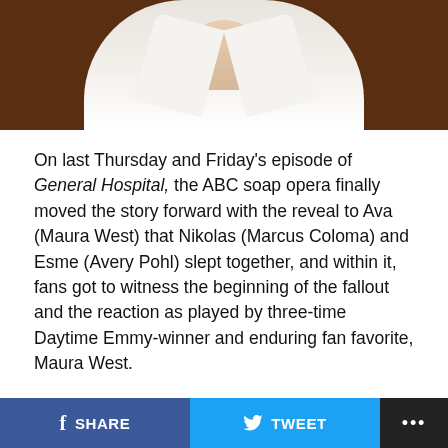[Figure (photo): Photo of a woman in a white blazer with a gold necklace, cropped to show shoulders and necklace area, against a dark background]
On last Thursday and Friday's episode of General Hospital, the ABC soap opera finally moved the story forward with the reveal to Ava (Maura West) that Nikolas (Marcus Coloma) and Esme (Avery Pohl) slept together, and within it, fans got to witness the beginning of the fallout and the reaction as played by three-time Daytime Emmy-winner and enduring fan favorite, Maura West.
As one might expect, the material in the hands of the mighty West, and the acting choices she makes are always intriguing and masterful.
In story, things start to unravel for Ava, when outside Trina's (Tabyana Ali) courtroom trial, Esme and Ava have...